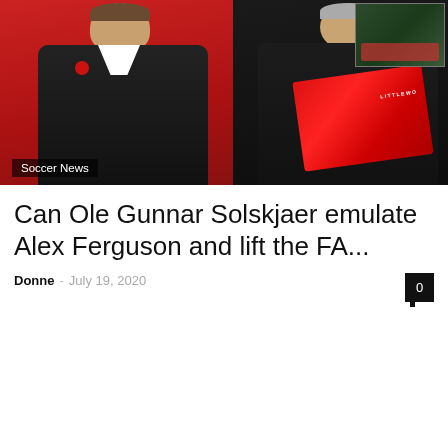[Figure (photo): Two football managers side by side: left shows a man in a dark puffer jacket standing on a red pitch background, right shows an older man in dark coat holding a red trophy scarf. Small inset photo top right shows group with trophy. Label 'Soccer News' overlaid at bottom left.]
Can Ole Gunnar Solskjaer emulate Alex Ferguson and lift the FA...
Donne - July 19, 2020